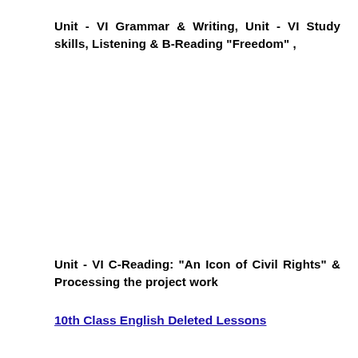Unit - VI Grammar & Writing, Unit - VI St udy skills, Listening & B-Reading "Freedom" ,
Unit - VI C-Reading: "An Icon of Civil Rights" & Processing the project work
10th Class English Deleted Lessons